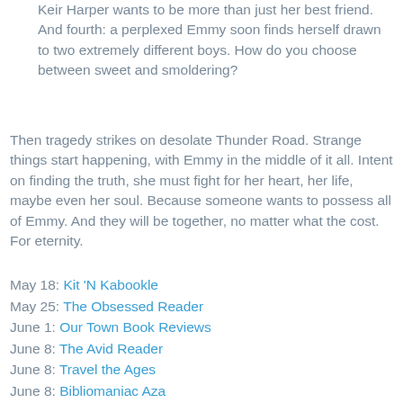Keir Harper wants to be more than just her best friend. And fourth: a perplexed Emmy soon finds herself drawn to two extremely different boys. How do you choose between sweet and smoldering?
Then tragedy strikes on desolate Thunder Road. Strange things start happening, with Emmy in the middle of it all. Intent on finding the truth, she must fight for her heart, her life, maybe even her soul. Because someone wants to possess all of Emmy. And they will be together, no matter what the cost. For eternity.
May 18: Kit 'N Kabookle
May 25: The Obsessed Reader
June 1: Our Town Book Reviews
June 8: The Avid Reader
June 8: Travel the Ages
June 8: Bibliomaniac Aza
June 8: Sparkle Book Club